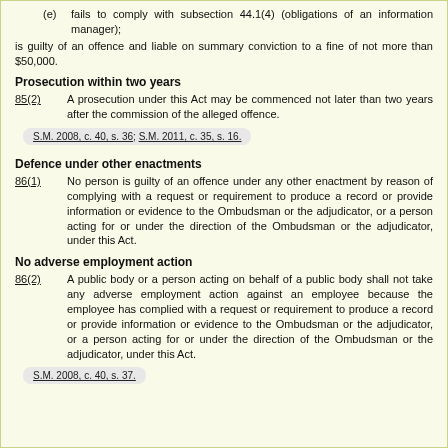(e) fails to comply with subsection 44.1(4) (obligations of an information manager);
is guilty of an offence and liable on summary conviction to a fine of not more than $50,000.
Prosecution within two years
85(2)   A prosecution under this Act may be commenced not later than two years after the commission of the alleged offence.
S.M. 2008, c. 40, s. 36; S.M. 2011, c. 35, s. 16.
Defence under other enactments
86(1)   No person is guilty of an offence under any other enactment by reason of complying with a request or requirement to produce a record or provide information or evidence to the Ombudsman or the adjudicator, or a person acting for or under the direction of the Ombudsman or the adjudicator, under this Act.
No adverse employment action
86(2)   A public body or a person acting on behalf of a public body shall not take any adverse employment action against an employee because the employee has complied with a request or requirement to produce a record or provide information or evidence to the Ombudsman or the adjudicator, or a person acting for or under the direction of the Ombudsman or the adjudicator, under this Act.
S.M. 2008, c. 40, s. 37.